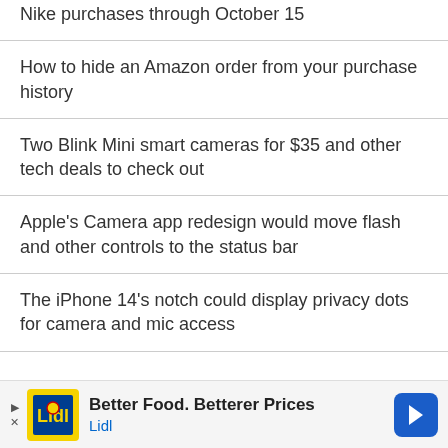Nike purchases through October 15
How to hide an Amazon order from your purchase history
Two Blink Mini smart cameras for $35 and other tech deals to check out
Apple's Camera app redesign would move flash and other controls to the status bar
The iPhone 14's notch could display privacy dots for camera and mic access
[Figure (other): Lidl advertisement banner: Better Food. Betterer Prices - Lidl]